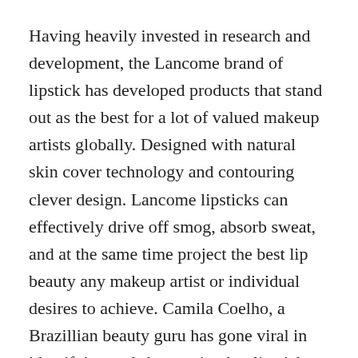Having heavily invested in research and development, the Lancome brand of lipstick has developed products that stand out as the best for a lot of valued makeup artists globally. Designed with natural skin cover technology and contouring clever design. Lancome lipsticks can effectively drive off smog, absorb sweat, and at the same time project the best lip beauty any makeup artist or individual desires to achieve. Camila Coelho, a Brazillian beauty guru has gone viral in identifying and showcasing her lipstick collections from Lancome.
Being a subsidiary brand of a giant cosmetic company, Lancome Lipstick is not a strange name to the ears of many young beautiful and energetic...